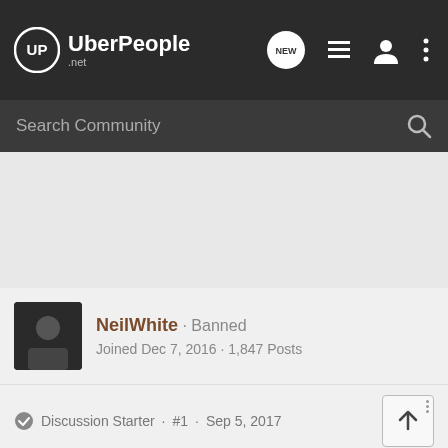UberPeople.net
Search Community
NeilWhite · Banned
Joined Dec 7, 2016 · 1,847 Posts
Discussion Starter · #1 · Sep 5, 2017
Willy and Werribee lines suspended
You can actually see surge in western suburbs.
Go punish the cheapskate western suburbs scum!!!